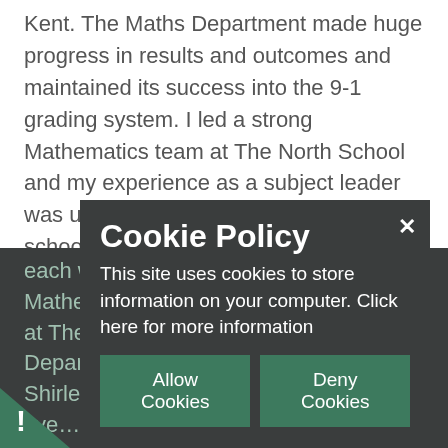Kent. The Maths Department made huge progress in results and outcomes and maintained its success into the 9-1 grading system. I led a strong Mathematics team at The North School and my experience as a subject leader was used as an example across the school and Trust, and I consequently led the Trust Mathematics network team. During 2016-2018 I spent some of my time
each week supporting and advising the Mathematics and Science Departments at The Whitstable... Mathematics Department at The Canterbury Academy Shirley... tails with... multiple... and I've... few
[Figure (screenshot): Cookie Policy overlay dialog on a dark background website. Title 'Cookie Policy', body text 'This site uses cookies to store information on your computer. Click here for more information', two buttons: 'Allow Cookies' and 'Deny Cookies', and a close X button.]